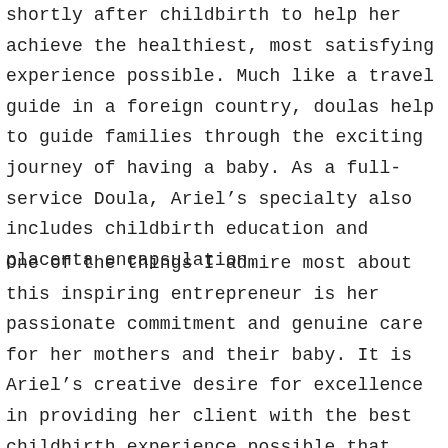shortly after childbirth to help her achieve the healthiest, most satisfying experience possible. Much like a travel guide in a foreign country, doulas help to guide families through the exciting journey of having a baby. As a full-service Doula, Ariel’s specialty also includes childbirth education and placenta encapsulation.
One of the things I admire most about this inspiring entrepreneur is her passionate commitment and genuine care for her mothers and their baby. It is Ariel’s creative desire for excellence in providing her client with the best childbirth experience possible that brought us together on a unique recipe project.